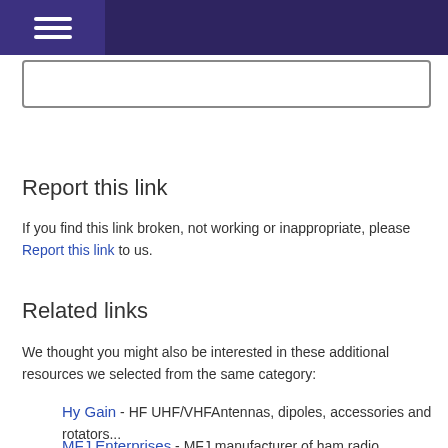Navigation bar with hamburger menu and search box
Report this link
If you find this link broken, not working or inappropriate, please Report this link to us.
Related links
We thought you might also be interested in these additional resources we selected from the same category:
Hy Gain - HF UHF/VHFAntennas, dipoles, accessories and rotators...
MFJ Enterprises - MFJ manufacturer of ham radio